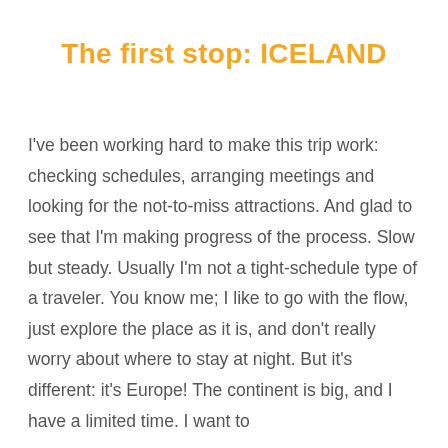The first stop: ICELAND
I've been working hard to make this trip work: checking schedules, arranging meetings and looking for the not-to-miss attractions. And glad to see that I'm making progress of the process. Slow but steady. Usually I'm not a tight-schedule type of a traveler. You know me; I like to go with the flow, just explore the place as it is, and don't really worry about where to stay at night. But it's different: it's Europe! The continent is big, and I have a limited time. I want to